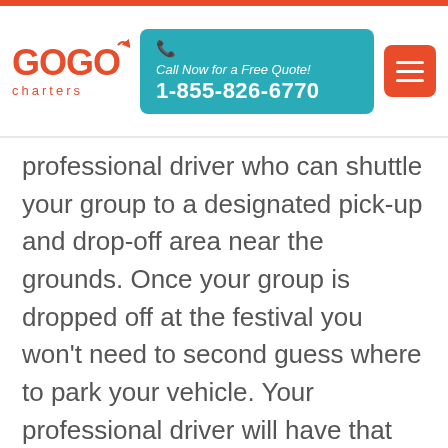[Figure (logo): GOGO Charters logo with red text and arrow]
Call Now for a Free Quote! 1-855-826-6770
professional driver who can shuttle your group to a designated pick-up and drop-off area near the grounds. Once your group is dropped off at the festival you won't need to second guess where to park your vehicle. Your professional driver will have that handled while you enjoy a day of music and art.
Once your group is ready to leave, you'll also have a designated driver to shuttle everyone to hotels or other lodging sites. You can relay